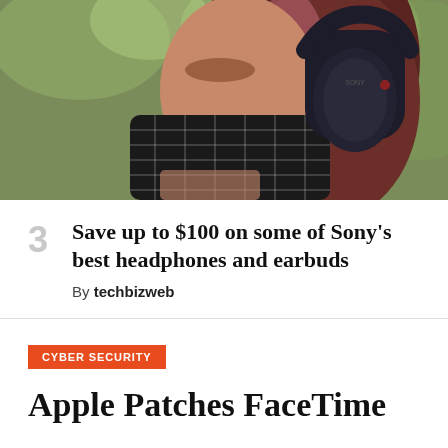[Figure (photo): Woman wearing a black plaid face mask and Sony over-ear headphones, photographed outdoors with green foliage in background]
3
Save up to $100 on some of Sony's best headphones and earbuds
By techbizweb
CYBER SECURITY
Apple Patches FaceTime